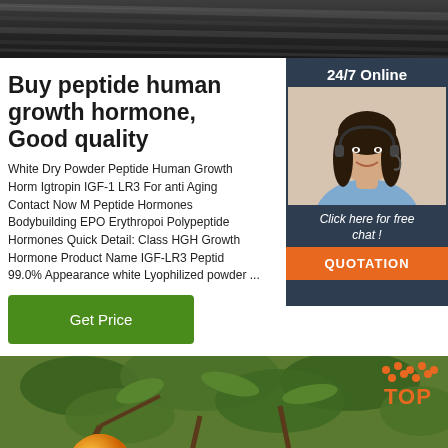[Figure (photo): Dark wood grain texture image at top of page]
Buy peptide human growth hormone, Good quality
White Dry Powder Peptide Human Growth Horm Igtropin IGF-1 LR3 For anti Aging Contact Now M Peptide Hormones Bodybuilding EPO Erythropoi Polypeptide Hormones Quick Detail: Class HGH Growth Hormone Product Name IGF-LR3 Peptid 99.0% Appearance white Lyophilized powder ...
[Figure (photo): Customer service representative woman with headset, smiling, with '24/7 Online' text above and 'Click here for free chat!' and 'QUOTATION' button below]
Get Price
[Figure (photo): Photo of oranges on a tree with green leaves, with orange 'TOP' logo text overlay in bottom right]